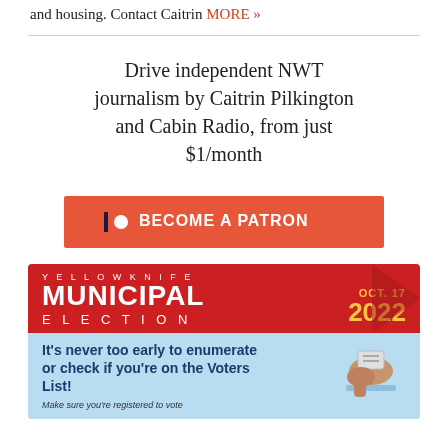and housing. Contact Caitrin MORE »
Drive independent NWT journalism by Caitrin Pilkington and Cabin Radio, from just $1/month
[Figure (infographic): Patreon button: orange/red rectangle with Patreon logo (dark bar and white circle) and text BECOME A PATRON in white bold capitals]
[Figure (infographic): Yellowknife Municipal Election advertisement. Red banner with 'YELLOWKNIFE MUNICIPAL ELECTION' text and 'OCT. 17 2022' in gold on right. Below on light blue background: 'It's never too early to enumerate or check if you're on the Voters List!' with a hand dropping a ballot illustration.]
Make sure you're registered to vote